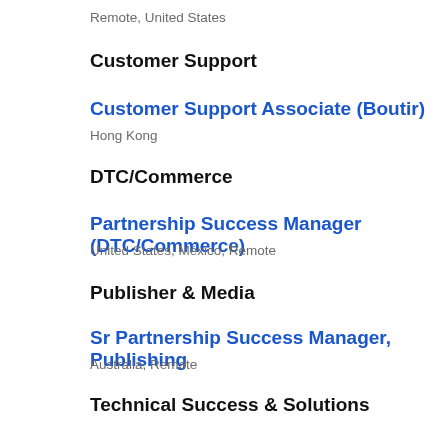Remote, United States
Customer Support
Customer Support Associate (Boutir)
Hong Kong
DTC/Commerce
Partnership Success Manager (DTC/Commerce)
United States, México, Remote
Publisher & Media
Sr Partnership Success Manager, Publishing
Australia, Remote
Technical Success & Solutions
Technical Success & Solutions Manager
Remote, Japan